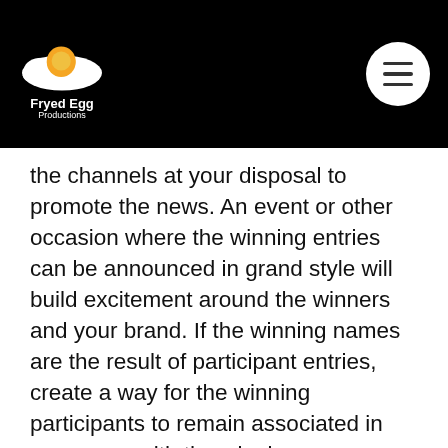Fryed Egg Productions
the channels at your disposal to promote the news. An event or other occasion where the winning entries can be announced in grand style will build excitement around the winners and your brand. If the winning names are the result of participant entries, create a way for the winning participants to remain associated in some way with the winning names. Naming, after all, represents a way for you to put your audience in the spotlight and a